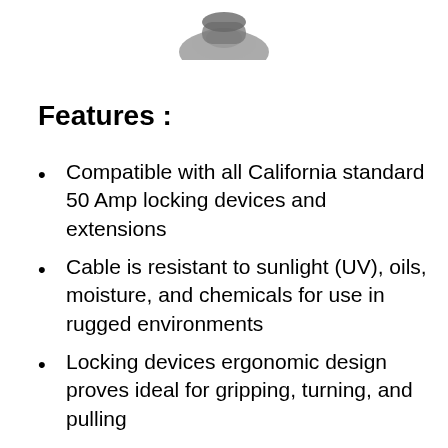[Figure (photo): Partial view of a product (locking device/cable connector) at the top of the page]
Features :
Compatible with all California standard 50 Amp locking devices and extensions
Cable is resistant to sunlight (UV), oils, moisture, and chemicals for use in rugged environments
Locking devices ergonomic design proves ideal for gripping, turning, and pulling
Rubber 600 Volt, 6 AWG 4 Conductor SOOW cord provides excellent flexibility and resistance
Hard-use Chlorinated Polyethylene